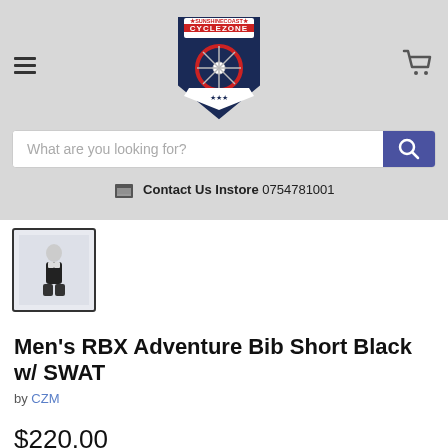[Figure (logo): Cyclezone Sunshine Coast shield logo with bicycle wheel]
What are you looking for?
Contact Us Instore 0754781001
[Figure (photo): Thumbnail image of Men's RBX Adventure Bib Short Black with SWAT, showing a cyclist wearing the product]
Men's RBX Adventure Bib Short Black w/ SWAT
by CZM
$220.00
Size